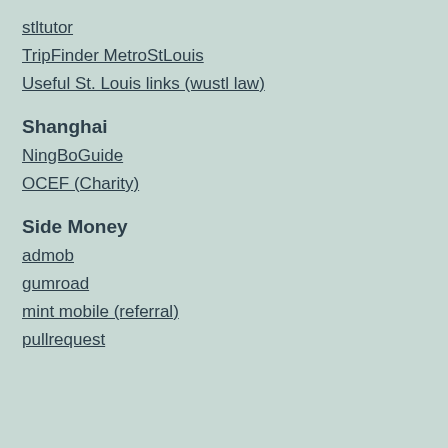stltutor
TripFinder MetroStLouis
Useful St. Louis links (wustl law)
Shanghai
NingBoGuide
OCEF (Charity)
Side Money
admob
gumroad
mint mobile (referral)
pullrequest